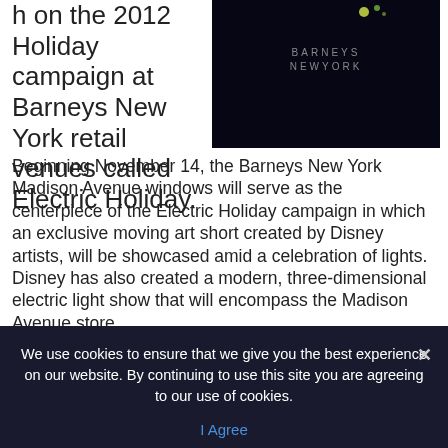h on the 2012 Holiday campaign at Barneys New York retail venues called Electric Holiday.
[Figure (logo): Barneys New York logo on dark background with glowing light effects]
Beginning November 14, the Barneys New York Madison Avenue windows will serve as the centerpiece of the Electric Holiday campaign in which an exclusive moving art short created by Disney artists, will be showcased amid a celebration of lights. Disney has also created a modern, three-dimensional electric light show that will encompass the Madison Avenue store
We use cookies to ensure that we give you the best experience on our website. By continuing to use this site you are agreeing to our use of cookies.
I Agree